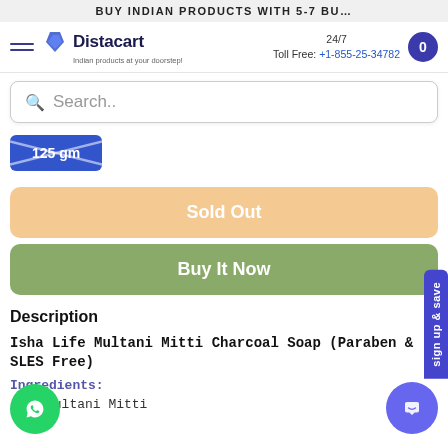BUY INDIAN PRODUCTS WITH 5-7 BU...
[Figure (logo): Distacart logo with tagline 'Indian products at your doorstep']
24/7 Toll Free: +1-855-25-34782
Search..
125 gm
Sold Out
Buy It Now
Description
Isha Life Multani Mitti Charcoal Soap (Paraben & SLES Free)
Ingredients:
Multani Mitti